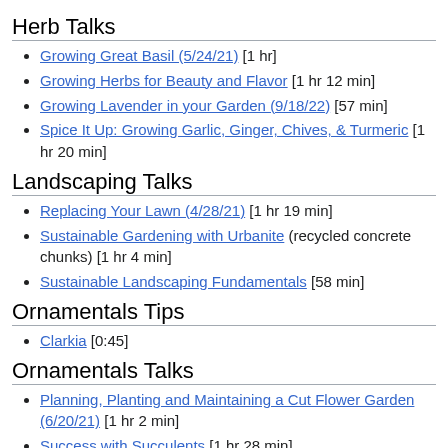Herb Talks
Growing Great Basil (5/24/21) [1 hr]
Growing Herbs for Beauty and Flavor [1 hr 12 min]
Growing Lavender in your Garden (9/18/22) [57 min]
Spice It Up: Growing Garlic, Ginger, Chives, & Turmeric [1 hr 20 min]
Landscaping Talks
Replacing Your Lawn (4/28/21) [1 hr 19 min]
Sustainable Gardening with Urbanite (recycled concrete chunks) [1 hr 4 min]
Sustainable Landscaping Fundamentals [58 min]
Ornamentals Tips
Clarkia [0:45]
Ornamentals Talks
Planning, Planting and Maintaining a Cut Flower Garden (6/20/21) [1 hr 2 min]
Success with Succulents [1 hr 28 min]